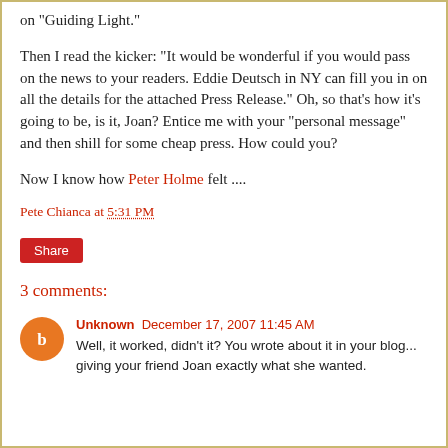on "Guiding Light."
Then I read the kicker: "It would be wonderful if you would pass on the news to your readers. Eddie Deutsch in NY can fill you in on all the details for the attached Press Release." Oh, so that's how it's going to be, is it, Joan? Entice me with your "personal message" and then shill for some cheap press. How could you?
Now I know how Peter Holme felt ....
Pete Chianca at 5:31 PM
Share
3 comments:
Unknown December 17, 2007 11:45 AM
Well, it worked, didn't it? You wrote about it in your blog... giving your friend Joan exactly what she wanted.